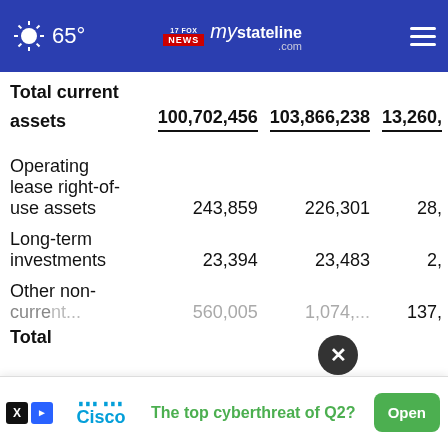65° mystateline.com
|  | Col1 | Col2 | Col3 |
| --- | --- | --- | --- |
| Total current assets | 100,702,456 | 103,866,238 | 13,260,... |
| Operating lease right-of-use assets | 243,859 | 226,301 | 28,... |
| Long-term investments | 23,394 | 23,483 | 2,... |
| Other non-current... | 560,005 | 1,074,... | 137,... |
| Total... |  |  |  |